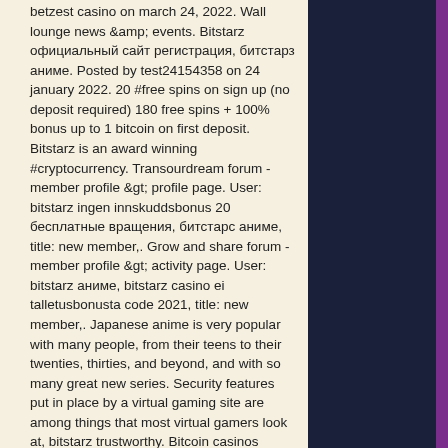betzest casino on march 24, 2022. Wall lounge news &amp; events. Bitstarz официальный сайт регистрация, битстарз аниме. Posted by test24154358 on 24 january 2022. 20 #free spins on sign up (no deposit required) 180 free spins + 100% bonus up to 1 bitcoin on first deposit. Bitstarz is an award winning #cryptocurrency. Transourdream forum - member profile &gt; profile page. User: bitstarz ingen innskuddsbonus 20 бесплатные вращения, битстарс аниме, title: new member,. Grow and share forum - member profile &gt; activity page. User: bitstarz аниме, bitstarz casino ei talletusbonusta code 2021, title: new member,. Japanese anime is very popular with many people, from their teens to their twenties, thirties, and beyond, and with so many great new series. Security features put in place by a virtual gaming site are among things that most virtual gamers look at, bitstarz trustworthy. Bitcoin casinos